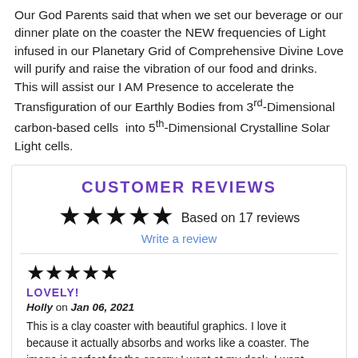Our God Parents said that when we set our beverage or our dinner plate on the coaster the NEW frequencies of Light infused in our Planetary Grid of Comprehensive Divine Love will purify and raise the vibration of our food and drinks. This will assist our I AM Presence to accelerate the Transfiguration of our Earthly Bodies from 3rd-Dimensional carbon-based cells into 5th-Dimensional Crystalline Solar Light cells.
CUSTOMER REVIEWS
★★★★★ Based on 17 reviews
Write a review
★★★★★
LOVELY!
Holly on Jan 06, 2021
This is a clay coaster with beautiful graphics. I love it because it actually absorbs and works like a coaster. The image is perfect for the energy I want at my desk. I want more! Thank you!!!!